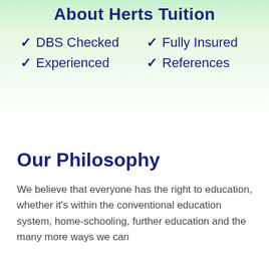About Herts Tuition
DBS Checked
Fully Insured
Experienced
References
Our Philosophy
We believe that everyone has the right to education, whether it's within the conventional education system, home-schooling, further education and the many more ways we can